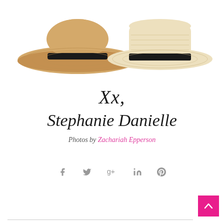[Figure (illustration): Two straw hats side by side: left is a wide-brim floppy tan straw hat with a black band, right is a lighter straw boater-style hat with a black ribbon bow.]
Xx,
Stephanie Danielle
Photos by Zachariah Epperson
[Figure (infographic): Social share icons: Facebook, Twitter, Google+, LinkedIn, Pinterest]
[Figure (other): Pink back-to-top button with upward caret arrow]